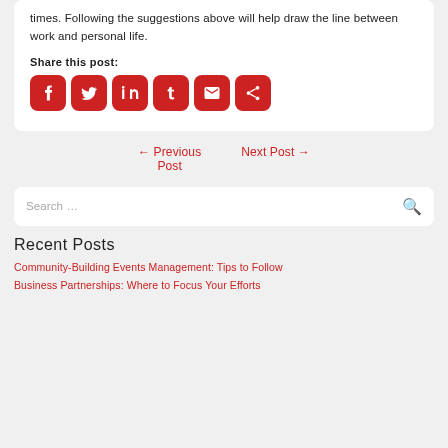times. Following the suggestions above will help draw the line between work and personal life.
Share this post:
[Figure (infographic): Row of 6 red rounded-square social share icons: Facebook, Twitter, LinkedIn, Tumblr, Email, Share]
← Previous Post
Next Post →
Search …
Recent Posts
Community-Building Events Management: Tips to Follow
Business Partnerships: Where to Focus Your Efforts